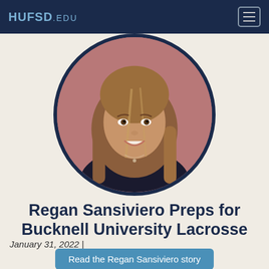HUFSD.EDU
[Figure (photo): Circular portrait photo of Regan Sansiviero, a young woman with long blonde hair, smiling, wearing a black top and a necklace, against a pink/mauve background.]
Regan Sansiviero Preps for Bucknell University Lacrosse
January 31, 2022 |
Read the Regan Sansiviero story